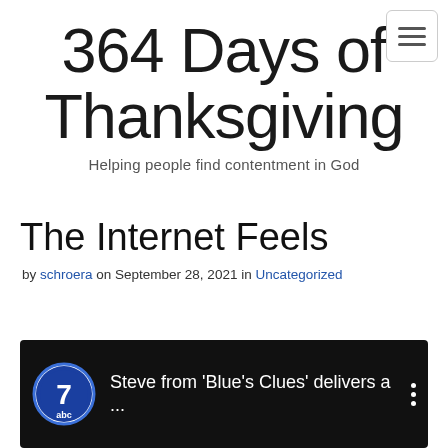364 Days of Thanksgiving
Helping people find contentment in God
The Internet Feels
by schroera on September 28, 2021 in Uncategorized
[Figure (screenshot): YouTube-style video thumbnail with ABC7 logo and text: Steve from 'Blue's Clues' delivers a ...]